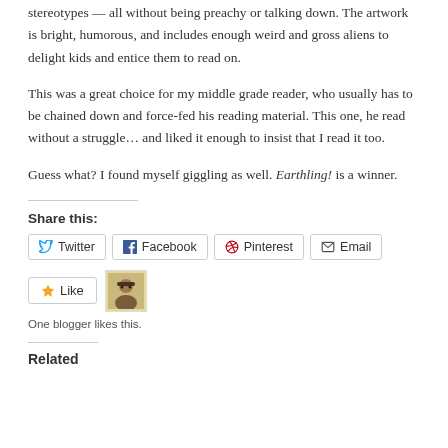stereotypes — all without being preachy or talking down. The artwork is bright, humorous, and includes enough weird and gross aliens to delight kids and entice them to read on.
This was a great choice for my middle grade reader, who usually has to be chained down and force-fed his reading material. This one, he read without a struggle… and liked it enough to insist that I read it too.
Guess what? I found myself giggling as well. Earthling! is a winner.
Share this:
Twitter  Facebook  Pinterest  Email
Like  [avatar]  One blogger likes this.
Related